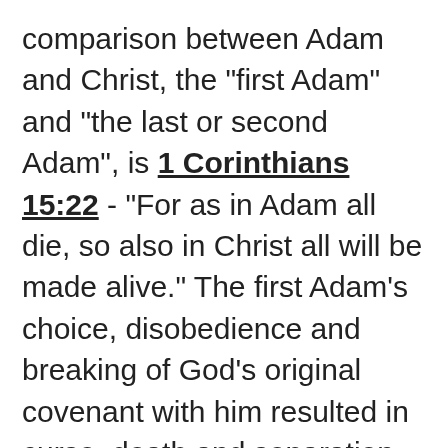comparison between Adam and Christ, the "first Adam" and "the last or second Adam", is 1 Corinthians 15:22 - "For as in Adam all die, so also in Christ all will be made alive." The first Adam's choice, disobedience and breaking of God's original covenant with him resulted in curse, death and separation from God. The second Adam's choices, perfect obedience and completion of that first covenant of obedience and inauguration of the New Covenant of grace in His blood results in blessing, life and reconciliation. Death flows from the spring of the first Adam's bloodline...